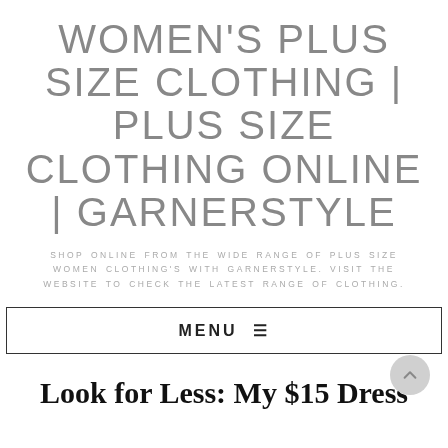WOMEN'S PLUS SIZE CLOTHING | PLUS SIZE CLOTHING ONLINE | GARNERSTYLE
SHOP ONLINE FROM THE WIDE RANGE OF PLUS SIZE WOMEN CLOTHING'S WITH GARNERSTYLE. VISIT THE WEBSITE TO CHECK THE LATEST RANGE OF CLOTHING.
MENU ≡
Look for Less: My $15 Dress